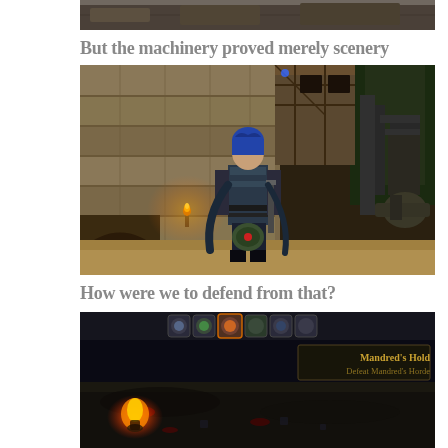[Figure (screenshot): Top partial screenshot of a video game scene, cropped at top]
But the machinery proved merely scenery
[Figure (screenshot): Video game screenshot showing a warrior character with blue hair standing in front of a stone building with medieval architecture, warm torchlight, trees and a cannon visible]
How were we to defend from that?
[Figure (screenshot): Video game UI screenshot showing top-down dark scene with HUD elements, game icons at top, and text reading Mandred's Hold / Defeat Mandred's Horde in upper right corner]